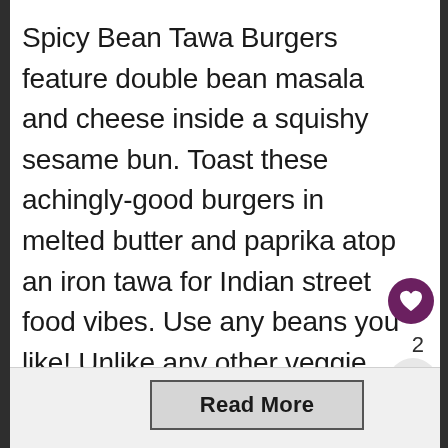Spicy Bean Tawa Burgers feature double bean masala and cheese inside a squishy sesame bun. Toast these achingly-good burgers in melted butter and paprika atop an iron tawa for Indian street food vibes. Use any beans you like! Unlike any other veggie burger, this Indian style version has big flavours both on the inside and ...
2
Read More